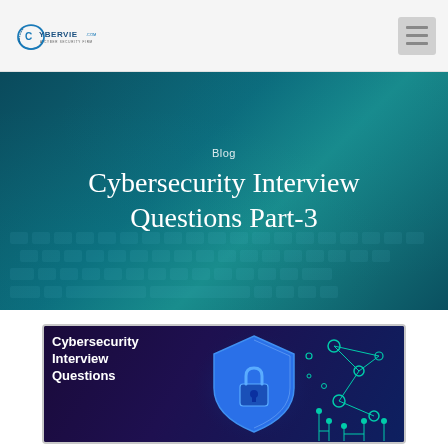Cybervie.com — A Cyber Security Firm
Blog
Cybersecurity Interview Questions Part-3
[Figure (illustration): Cybersecurity Interview Questions thumbnail image showing bold white text 'Cybersecurity Interview Questions' on dark purple background with a blue shield/padlock icon and circuit board network graphics in teal]